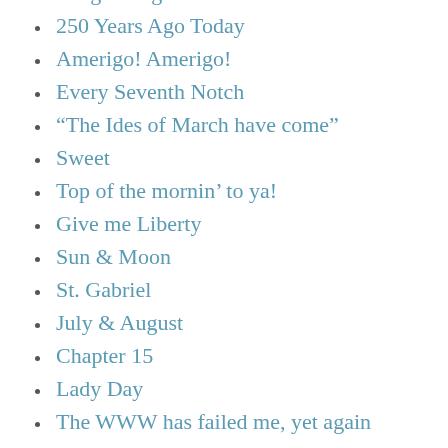Imagine it gone
250 Years Ago Today
Amerigo! Amerigo!
Every Seventh Notch
“The Ides of March have come”
Sweet
Top of the mornin’ to ya!
Give me Liberty
Sun & Moon
St. Gabriel
July & August
Chapter 15
Lady Day
The WWW has failed me, yet again
Two Roads